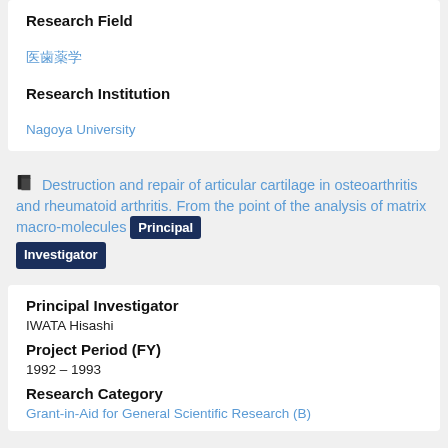Research Field
医歯薬学
Research Institution
Nagoya University
Destruction and repair of articular cartilage in osteoarthritis and rheumatoid arthritis. From the point of the analysis of matrix macro-molecules  Principal Investigator
Principal Investigator
IWATA Hisashi
Project Period (FY)
1992 – 1993
Research Category
Grant-in-Aid for General Scientific Research (B)